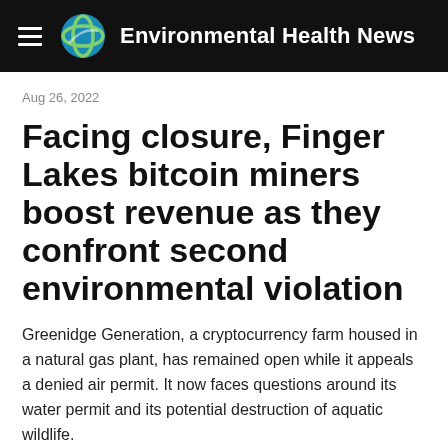Environmental Health News
Aug 26, 2022
Facing closure, Finger Lakes bitcoin miners boost revenue as they confront second environmental violation
Greenidge Generation, a cryptocurrency farm housed in a natural gas plant, has remained open while it appeals a denied air permit. It now faces questions around its water permit and its potential destruction of aquatic wildlife.